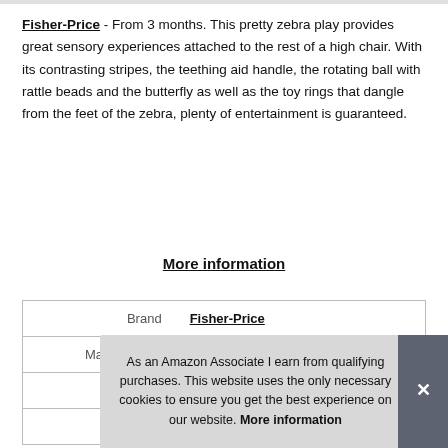Fisher-Price - From 3 months. This pretty zebra play provides great sensory experiences attached to the rest of a high chair. With its contrasting stripes, the teething aid handle, the rotating ball with rattle beads and the butterfly as well as the toy rings that dangle from the feet of the zebra, plenty of entertainment is guaranteed.
More information
|  |  |
| --- | --- |
| Brand | Fisher-Price |
| Manufacturer | Mattel |
As an Amazon Associate I earn from qualifying purchases. This website uses the only necessary cookies to ensure you get the best experience on our website. More information